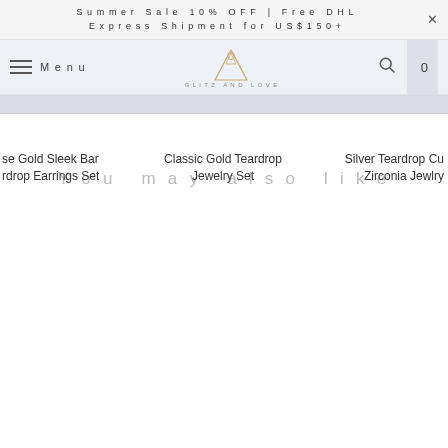Summer Sale 10% OFF | Free DHL Express Shipment for US$150+
Menu | Glitz and Love | Search | Cart 0
You may also like
se Gold Sleek Bar rdrop Earrings Set
Classic Gold Teardrop Jewelry Set
Silver Teardrop Cu Zirconia Jewlry